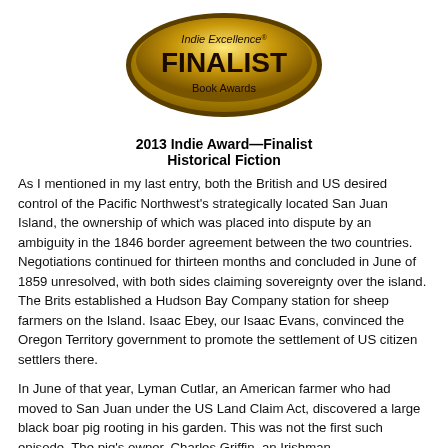[Figure (logo): Indie Excellence FINALIST Book Awards gold oval badge/seal]
2013 Indie Award—Finalist
Historical Fiction
As I mentioned in my last entry, both the British and US desired control of the Pacific Northwest's strategically located San Juan Island, the ownership of which was placed into dispute by an ambiguity in the 1846 border agreement between the two countries. Negotiations continued for thirteen months and concluded in June of 1859 unresolved, with both sides claiming sovereignty over the island.  The Brits established a Hudson Bay Company station for sheep farmers on the Island.  Isaac Ebey, our Isaac Evans, convinced the Oregon Territory government to promote the settlement of US citizen settlers there.
In June of that year, Lyman Cutlar, an American farmer who had moved to San Juan under the US Land Claim Act, discovered a large black boar pig rooting in his garden.  This was not the first such episode.  The pig's owner, Charles Griffin, an Irishman